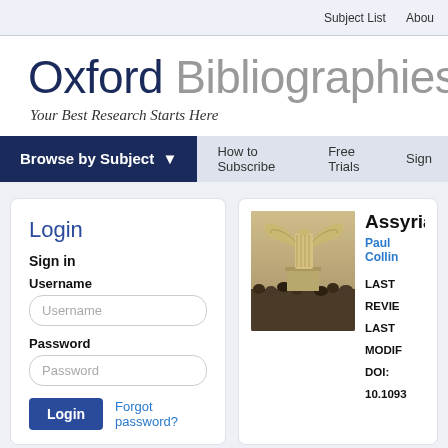Subject List  About
Oxford Bibliographies
Your Best Research Starts Here
Browse by Subject  How to Subscribe  Free Trials  Sign
Login
Sign in
Username
Password
Login  Forgot password?
[Figure (photo): Winged Victory of Samothrace sculpture surrounded by crowd at museum]
Assyria
Paul Collin
LAST REVIE
LAST MODIF
DOI: 10.1093